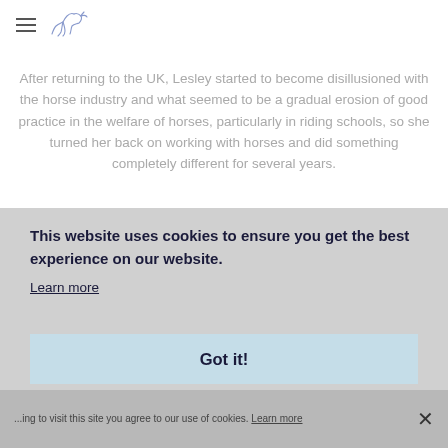After returning to the UK, Lesley started to become disillusioned with the horse industry and what seemed to be a gradual erosion of good practice in the welfare of horses, particularly in riding schools, so she turned her back on working with horses and did something completely different for several years.
...London ...with
...ent life... time
This website uses cookies to ensure you get the best experience on our website. Learn more
Got it!
...ing to visit this site you agree to our use of cookies. Learn more